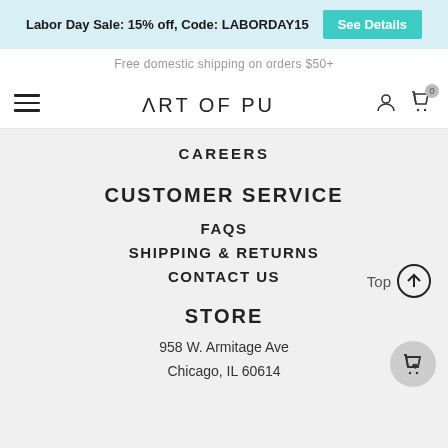Labor Day Sale: 15% off, Code: LABORDAY15  See Details
Free domestic shipping on orders $50+
ART OF PURE
CAREERS
CUSTOMER SERVICE
FAQS
SHIPPING & RETURNS
CONTACT US
STORE
958 W. Armitage Ave
Chicago, IL 60614